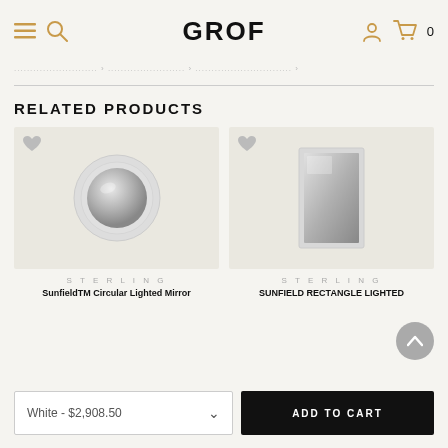GROF
..................... > ................... > ....................... >
RELATED PRODUCTS
[Figure (photo): Round circular lighted mirror with white frame on light beige background]
STERLING
SunfieldTM Circular Lighted Mirror
[Figure (photo): Rectangle lighted mirror with white frame on light beige background]
STERLING
SUNFIELD RECTANGLE LIGHTED
White - $2,908.50
ADD TO CART